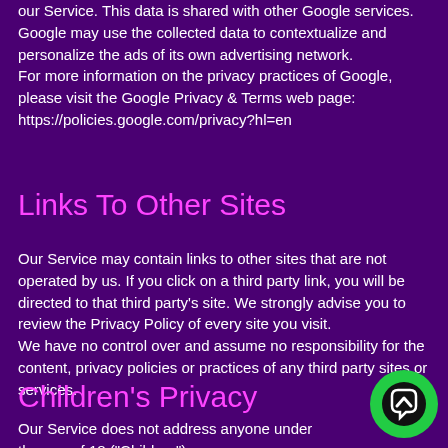our Service. This data is shared with other Google services. Google may use the collected data to contextualize and personalize the ads of its own advertising network.
For more information on the privacy practices of Google, please visit the Google Privacy & Terms web page: https://policies.google.com/privacy?hl=en
Links To Other Sites
Our Service may contain links to other sites that are not operated by us. If you click on a third party link, you will be directed to that third party's site. We strongly advise you to review the Privacy Policy of every site you visit.
We have no control over and assume no responsibility for the content, privacy policies or practices of any third party sites or services.
Children's Privacy
Our Service does not address anyone under the age of 18 ("Children").